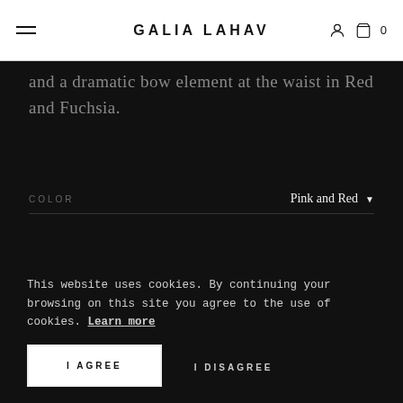GALIA LAHAV
and a dramatic bow element at the waist in Red and Fuchsia.
COLOR   Pink and Red ▾
SIZE   38 ▾
PRICE
$2,800 USD
This website uses cookies. By continuing your browsing on this site you agree to the use of cookies. Learn more
I AGREE
I DISAGREE